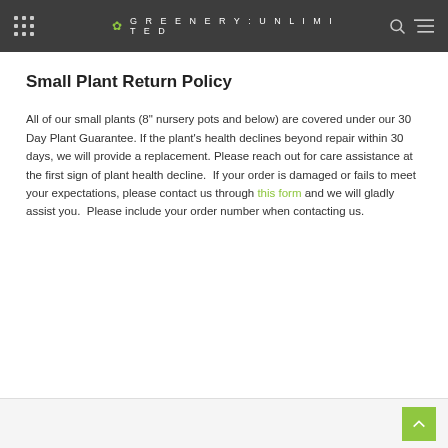GREENERY:UNLIMITED
Small Plant Return Policy
All of our small plants (8" nursery pots and below) are covered under our 30 Day Plant Guarantee. If the plant's health declines beyond repair within 30 days, we will provide a replacement. Please reach out for care assistance at the first sign of plant health decline.  If your order is damaged or fails to meet your expectations, please contact us through this form and we will gladly assist you.  Please include your order number when contacting us.
Back to top